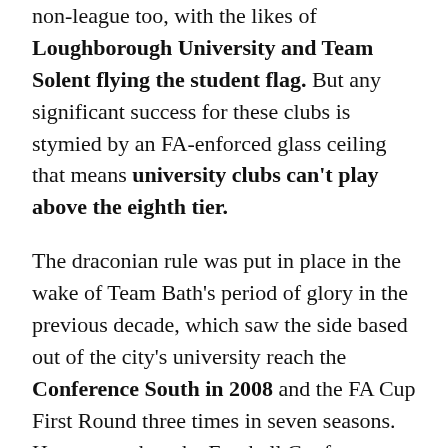non-league too, with the likes of Loughborough University and Team Solent flying the student flag. But any significant success for these clubs is stymied by an FA-enforced glass ceiling that means university clubs can't play above the eighth tier.
The draconian rule was put in place in the wake of Team Bath's period of glory in the previous decade, which saw the side based out of the city's university reach the Conference South in 2008 and the FA Cup First Round three times in seven seasons. However, when the Football Conference informed the Crescents – who were managed by Paul Tisdale at the time – that they would ineligible for further promotions unless they became a limited company, the university pulled the club out of the competition.